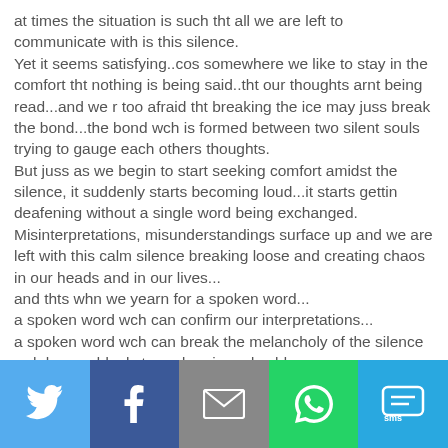at times the situation is such tht all we are left to communicate with is this silence. Yet it seems satisfying..cos somewhere we like to stay in the comfort tht nothing is being said..tht our thoughts arnt being read...and we r too afraid tht breaking the ice may juss break the bond...the bond wch is formed between two silent souls trying to gauge each others thoughts. But juss as we begin to start seeking comfort amidst the silence, it suddenly starts becoming loud...it starts gettin deafening without a single word being exchanged. Misinterpretations, misunderstandings surface up and we are left with this calm silence breaking loose and creating chaos in our heads and in our lives... and thts whn we yearn for a spoken word... a spoken word wch can confirm our interpretations... a spoken word wch can break the melancholy of the silence wch has suddenly turned eerie and cold... a spoken word wch can soothen out the chaos the once comforting silence has now transformed into.
[Figure (infographic): Social share bar with five buttons: Twitter (blue bird icon), Facebook (dark blue f icon), Email (grey envelope icon), WhatsApp (green phone icon), SMS (light blue sms bubble icon)]